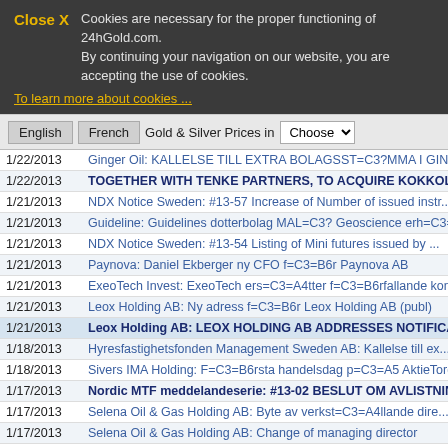Close X   Cookies are necessary for the proper functioning of 24hGold.com. By continuing your navigation on our website, you are accepting the use of cookies.
To learn more about cookies ...
English  French  Gold & Silver Prices in  Choose
| Date | Title |
| --- | --- |
| 1/22/2013 | Ginger Oil: KALLELSE TILL EXTRA BOLAGSST=C3?MMA I GINGER OI... |
| 1/22/2013 | TOGETHER WITH TENKE PARTNERS, TO ACQUIRE KOKKOLA COBAL... |
| 1/21/2013 | NDX Notice Sweden: #13-57 Increase of Number of issued instr... |
| 1/21/2013 | Guideline: Guidelines dotterbolag MAL=C3? Geoscience erh=C3=... |
| 1/21/2013 | NDX Notice Sweden: #13-54 Listing of Mini futures issued by ... |
| 1/21/2013 | Paynova: Daniel Ekberger ny CFO f=C3=B6r Paynova AB |
| 1/21/2013 | ExeoTech Invest: ExeoTech ers=C3=A4tter f=C3=B6rfallande kon... |
| 1/21/2013 | Leox Holding AB: Ny adress f=C3=B6r Leox Holding AB (publ) |
| 1/21/2013 | Leox Holding AB: LEOX HOLDING AB ADDRESSES NOTIFICATION |
| 1/18/2013 | Hyresfastighetsfonden Management Sweden AB: Kallelse till ex... |
| 1/18/2013 | Sivers IMA Holding: F=C3=B6rsta handelsdag p=C3=A5 AktieTorg... |
| 1/17/2013 | Nordic MTF meddelandeserie: #13-02 BESLUT OM AVLISTNING AV S... |
| 1/17/2013 | Selena Oil & Gas Holding AB: Byte av verkst=C3=A4llande dire... |
| 1/17/2013 | Selena Oil & Gas Holding AB: Change of managing director |
| 1/16/2013 | Hyresfastighetsfonden Management Sweden AB: Genomf=C3=B6rd e... |
| 1/16/2013 | Tethys Oil: OLJEPRODUKTIONEN FR=C3?N BLOCK 3 OCH 4 ONSHOR... |
| 1/16/2013 | to Release Fourth Quarter 2012 Results Thursday, February 21... |
| 1/15/2013 | Servage: Budkommitt=C3=A9n inom Styrelsen i Servage AB (publ... |
| 1/15/2013 | NDX Notice Sweden: #13-44 Listing of instruments issued by C... |
| 1/15/2013 | Nordic MTF meddelandeserie: #13-01 OBSERVATIONSLISTNING AV A... |
| 1/15/2013 | NDX Notice Sweden: #13-41 Listing of Mini futures issued by ... |
| 1/15/2013 | NDX Notice Sweden: #13-38 Listing of Constant leverage certi... |